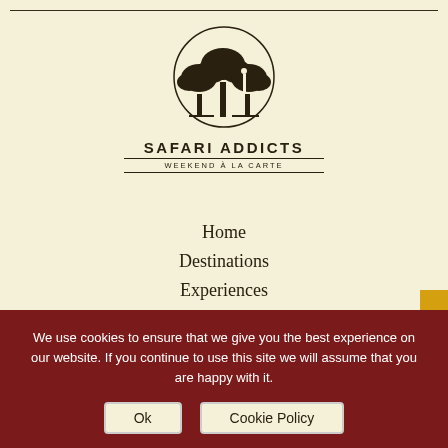[Figure (logo): Safari Addicts logo with acacia trees in a circle, text SAFARI ADDICTS and WEEKEND À LA CARTE below]
Home
Destinations
Experiences
About Us
Popular Safaris
Our Blog
Contact Us
Sitemap
Privacy policy
T&Cs
Cookie Policy
We use cookies to ensure that we give you the best experience on our website. If you continue to use this site we will assume that you are happy with it.
Ok
Cookie Policy